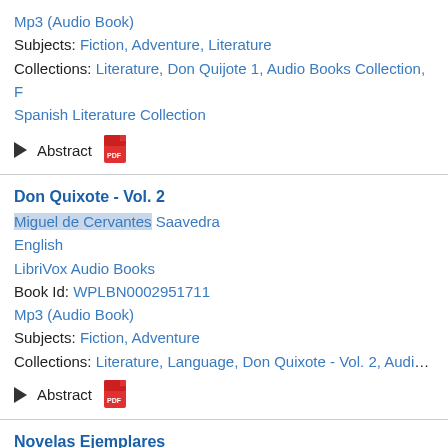Mp3 (Audio Book)
Subjects: Fiction, Adventure, Literature
Collections: Literature, Don Quijote 1, Audio Books Collection, Spanish Literature Collection
Abstract
Don Quixote - Vol. 2
Miguel de Cervantes Saavedra
English
LibriVox Audio Books
Book Id: WPLBN0002951711
Mp3 (Audio Book)
Subjects: Fiction, Adventure
Collections: Literature, Language, Don Quixote - Vol. 2, Audio B
Abstract
Novelas Ejemplares
Miguel de Cervantes Saavedra
Castilian